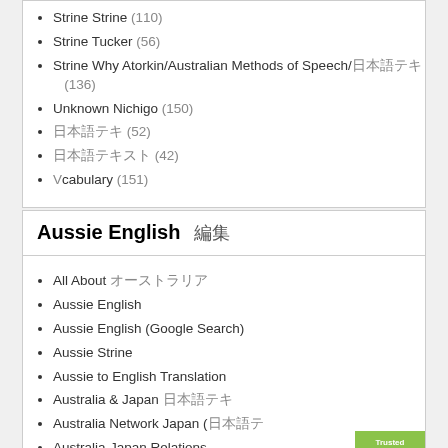Strine Strine (110)
Strine Tucker (56)
Strine Why Atorkin/Australian Methods of Speech/日本語テキスト (136)
Unknown Nichigo (150)
日本語テキスト (52)
日本語テキスト (42)
Vocabulary (151)
Aussie English 編集
All About オーストラリア
Aussie English
Aussie English (Google Search)
Aussie Strine
Aussie to English Translation
Australia & Japan 日本語テキスト
Australia Network Japan (日本語
Australia-Japan Relations